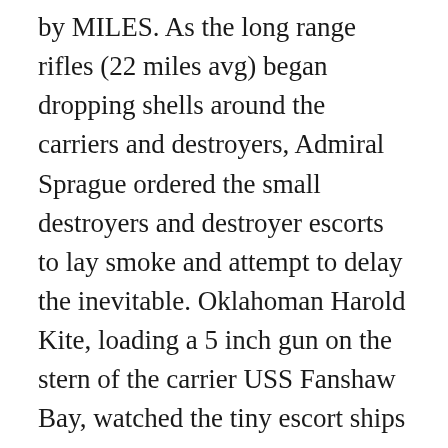by MILES. As the long range rifles (22 miles avg) began dropping shells around the carriers and destroyers, Admiral Sprague ordered the small destroyers and destroyer escorts to lay smoke and attempt to delay the inevitable. Oklahoman Harold Kite, loading a 5 inch gun on the stern of the carrier USS Fanshaw Bay, watched the tiny escort ships turning to race towards the huge enemy ships, and likened them to the horses that had raced across the plains of central Oklahoma as he was growing up, and marveled at their courage. The closest escort ship to the Japanese fleet, the USS Johnston, was commanded by another Oklahoman, Commander Ernest E. Evans